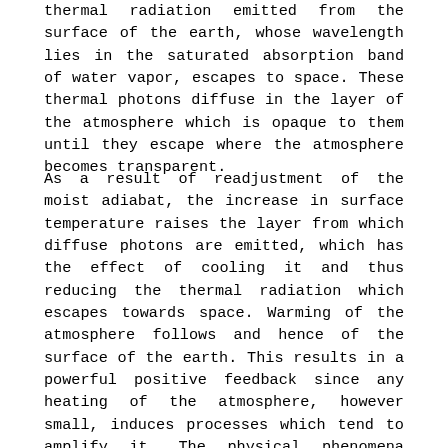thermal radiation emitted from the surface of the earth, whose wavelength lies in the saturated absorption band of water vapor, escapes to space. These thermal photons diffuse in the layer of the atmosphere which is opaque to them until they escape where the atmosphere becomes transparent.
As a result of readjustment of the moist adiabat, the increase in surface temperature raises the layer from which diffuse photons are emitted, which has the effect of cooling it and thus reducing the thermal radiation which escapes towards space. Warming of the atmosphere follows and hence of the surface of the earth. This results in a powerful positive feedback since any heating of the atmosphere, however small, induces processes which tend to amplify it. The physical phenomena involved are robust because the atmospheric layer from which thermal photons are emitted can be assimilated to a black body. In other words, the thermal radiation that escapes depends only on the